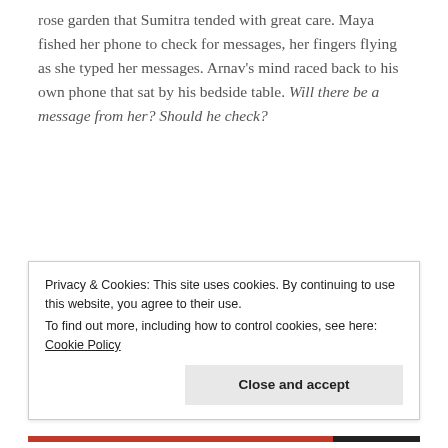rose garden that Sumitra tended with great care. Maya fished her phone to check for messages, her fingers flying as she typed her messages. Arnav's mind raced back to his own phone that sat by his bedside table. Will there be a message from her? Should he check?
It was that look again in his eyes that caught Maya's attention, a look that seemed to settle
Privacy & Cookies: This site uses cookies. By continuing to use this website, you agree to their use.
To find out more, including how to control cookies, see here: Cookie Policy
Close and accept